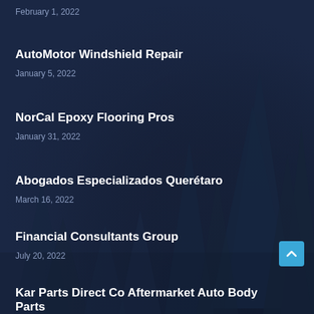February 1, 2022
AutoMotor Windshield Repair
January 5, 2022
NorCal Epoxy Flooring Pros
January 31, 2022
Abogados Especializados Querétaro
March 16, 2022
Financial Consultants Group
July 20, 2022
Kar Parts Direct Co Aftermarket Auto Body Parts